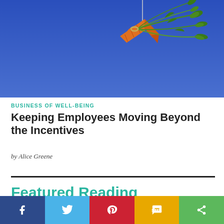[Figure (photo): A carrot hanging from a string against a bright blue sky background, symbolizing incentives.]
BUSINESS OF WELL-BEING
Keeping Employees Moving Beyond the Incentives
by Alice Greene
Featured Reading
[Figure (infographic): Social sharing bar with Facebook, Twitter, Pinterest, SMS, and share icons.]